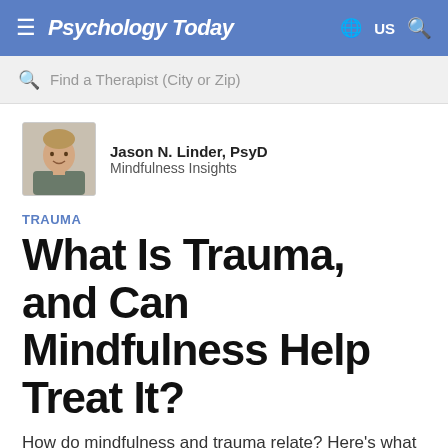Psychology Today  US
Find a Therapist (City or Zip)
Jason N. Linder, PsyD
Mindfulness Insights
TRAUMA
What Is Trauma, and Can Mindfulness Help Treat It?
How do mindfulness and trauma relate? Here's what you need to know.
Posted September 19, 2019